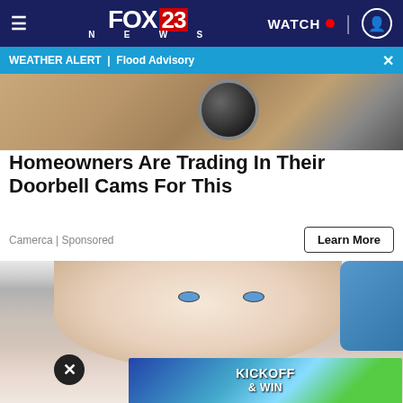FOX23 NEWS | WATCH
WEATHER ALERT | Flood Advisory
[Figure (photo): Close-up of a doorbell camera mounted on a wall with sandy/stone texture background]
Homeowners Are Trading In Their Doorbell Cams For This
Camerca | Sponsored
Learn More
[Figure (photo): Close-up of a smiling woman with blue eyes and brown hair, with a blue-gloved hand visible on the right, possibly a dental or medical context]
[Figure (screenshot): Bottom banner advertisement showing 'KICKOFF & WIN' text with green football field and sky background]